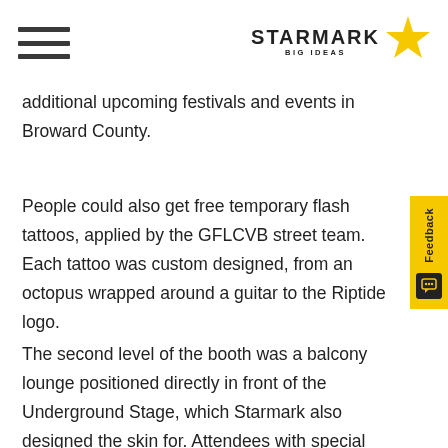STARMARK BIG IDEAS
additional upcoming festivals and events in Broward County.
People could also get free temporary flash tattoos, applied by the GFLCVB street team. Each tattoo was custom designed, from an octopus wrapped around a guitar to the Riptide logo.
The second level of the booth was a balcony lounge positioned directly in front of the Underground Stage, which Starmark also designed the skin for. Attendees with special wristbands had access to sit upstairs and enjoy the music from the stage. The balcony had couches with branded Visit Lauderdale pillows and